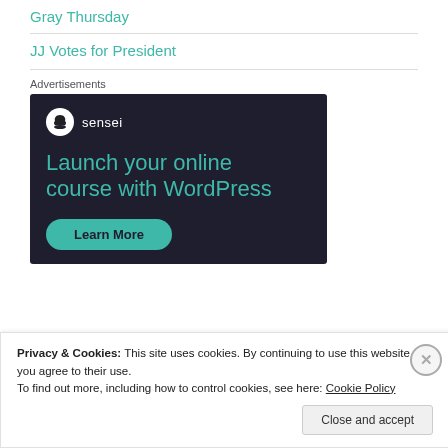Gray Thursday
JJ Votes for President
Advertisements
[Figure (illustration): Sensei advertisement banner with dark background. Shows Sensei logo (bonsai tree in circle) with text 'Launch your online course with WordPress' in teal, and a 'Learn More' button.]
Privacy & Cookies: This site uses cookies. By continuing to use this website, you agree to their use.
To find out more, including how to control cookies, see here: Cookie Policy
Close and accept